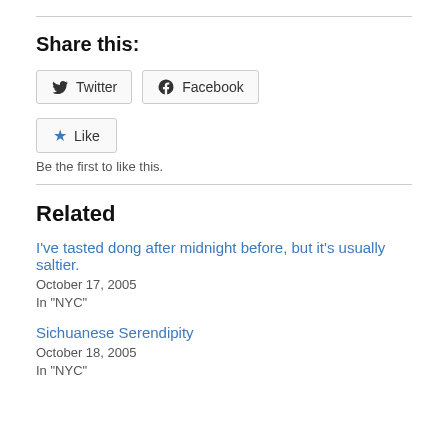Share this:
Twitter  Facebook
Like
Be the first to like this.
Related
I've tasted dong after midnight before, but it's usually saltier.
October 17, 2005
In "NYC"
Sichuanese Serendipity
October 18, 2005
In "NYC"